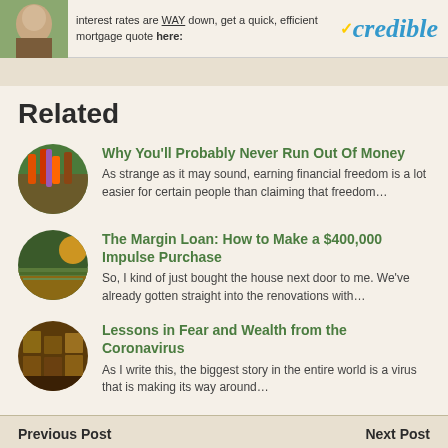[Figure (screenshot): Credible mortgage advertisement banner with image of woman, text about mortgage quotes, and Credible logo]
Related
Why You'll Probably Never Run Out Of Money — As strange as it may sound, earning financial freedom is a lot easier for certain people than claiming that freedom…
The Margin Loan: How to Make a $400,000 Impulse Purchase — So, I kind of just bought the house next door to me. We've already gotten straight into the renovations with…
Lessons in Fear and Wealth from the Coronavirus — As I write this, the biggest story in the entire world is a virus that is making its way around…
Previous Post    Next Post